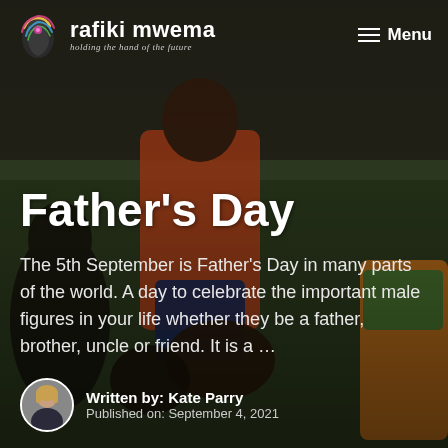[Figure (photo): Background photo of adults and children gathered together outdoors on grass, dark overlay applied]
rafiki mwema — holding the hand of the future | Menu
Father's Day
The 5th September is Father's Day in many parts of the world. A day to celebrate the important male figures in your life whether they be a father, brother, uncle or friend. It is a …
Written by: Kate Parry
Published on: September 4, 2021